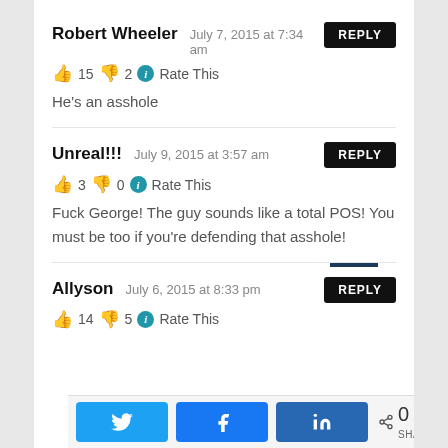Robert Wheeler — July 7, 2015 at 7:34 am — REPLY
👍 15 👎 2 ℹ Rate This
He's an asshole
Unreal!!! — July 9, 2015 at 3:57 am — REPLY
👍 3 👎 0 ℹ Rate This
Fuck George! The guy sounds like a total POS! You must be too if you're defending that asshole!
Allyson — July 6, 2015 at 8:33 pm — REPLY
👍 14 👎 5 ℹ Rate This